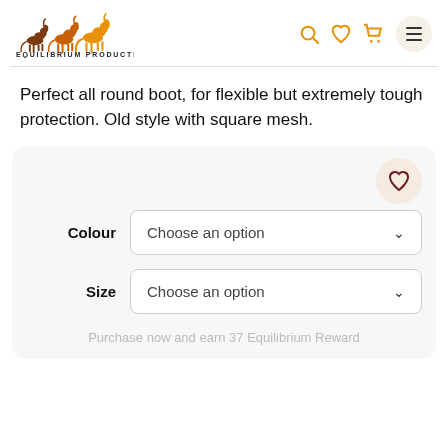[Figure (logo): Equilibrium Products logo with running horses in orange and brown tones]
Perfect all round boot, for flexible but extremely tough protection. Old style with square mesh.
Colour  Choose an option
Size  Choose an option
Purchase now and earn 37 Equilibrium Reward